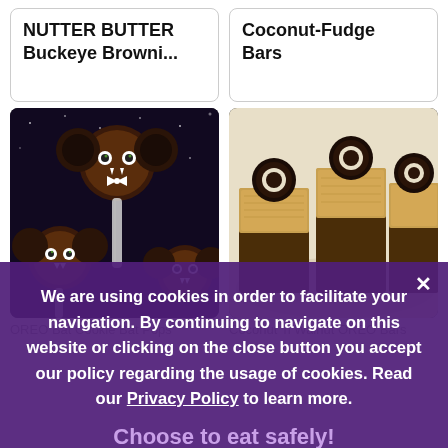NUTTER BUTTER Buckeye Browni...
Coconut-Fudge Bars
[Figure (photo): OREO Bat Cookie Pops — chocolate bat-shaped cookie pops with googly candy eyes on dark background]
[Figure (photo): Coconut 'n Walnut OREO Bars — layered bars with toasted coconut topping and OREO cookie on top, on a white plate]
OREO Bat Cookie Bat Pops
Coconut 'n Walnut OREO Bars
We are using cookies in order to facilitate your navigation. By continuing to navigate on this website or clicking on the close button you accept our policy regarding the usage of cookies. Read our Privacy Policy to learn more.
Choose to eat safely!